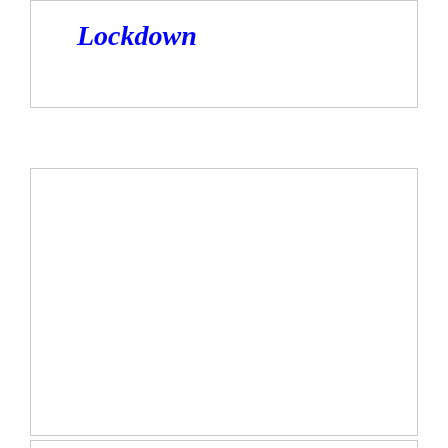Lockdown
[Figure (other): Empty white card/box region, likely placeholder for image or content]
Common concerns &